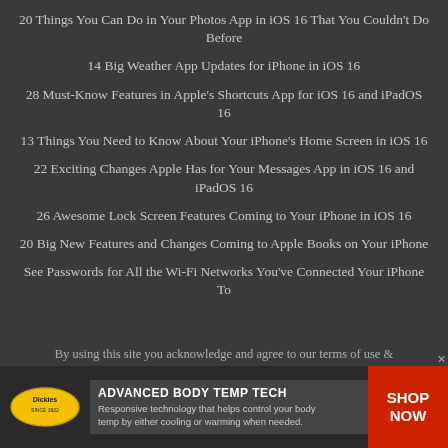20 Things You Can Do in Your Photos App in iOS 16 That You Couldn't Do Before
14 Big Weather App Updates for iPhone in iOS 16
28 Must-Know Features in Apple's Shortcuts App for iOS 16 and iPadOS 16
13 Things You Need to Know About Your iPhone's Home Screen in iOS 16
22 Exciting Changes Apple Has for Your Messages App in iOS 16 and iPadOS 16
26 Awesome Lock Screen Features Coming to Your iPhone in iOS 16
20 Big New Features and Changes Coming to Apple Books on Your iPhone
See Passwords for All the Wi-Fi Networks You've Connected Your iPhone To
By using this site you acknowledge and agree to our terms of use &
[Figure (infographic): Dickies advertisement banner: logo on left, 'ADVANCED BODY TEMP TECH' headline in center with subtitle about responsive technology, and 'SHOP NOW' call-to-action button on right in red]